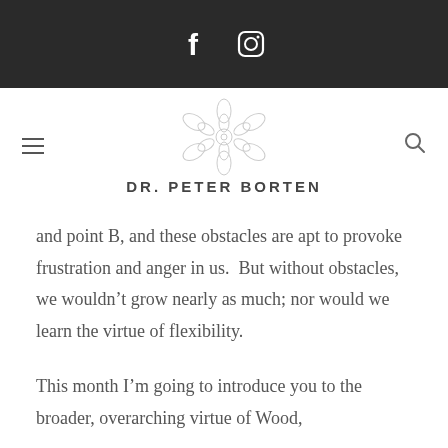[Figure (screenshot): Dark top bar with Facebook and Instagram social media icons in white]
[Figure (logo): Dr. Peter Borten logo with decorative mandala/floral geometric design above the text DR. PETER BORTEN, flanked by hamburger menu icon on the left and search icon on the right]
and point B, and these obstacles are apt to provoke frustration and anger in us.  But without obstacles, we wouldn't grow nearly as much; nor would we learn the virtue of flexibility.
This month I'm going to introduce you to the broader, overarching virtue of Wood,